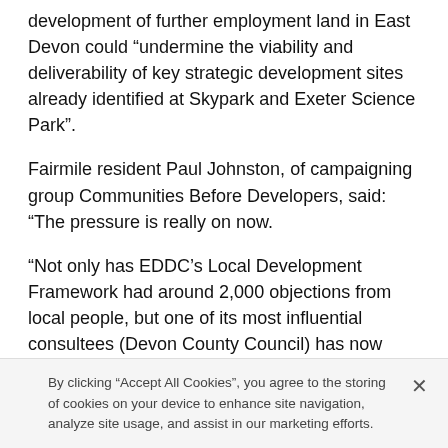development of further employment land in East Devon could “undermine the viability and deliverability of key strategic development sites already identified at Skypark and Exeter Science Park”.
Fairmile resident Paul Johnston, of campaigning group Communities Before Developers, said: “The pressure is really on now.
“Not only has EDDC’s Local Development Framework had around 2,000 objections from local people, but one of its most influential consultees (Devon County Council) has now joined the ranks of those who want the plans dramatically amended.
“EDDC’s Local Development Framework and Developers the...
By clicking “Accept All Cookies”, you agree to the storing of cookies on your device to enhance site navigation, analyze site usage, and assist in our marketing efforts.